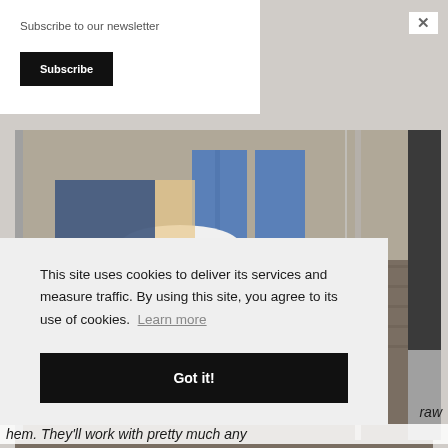Subscribe to our newsletter
Subscribe
[Figure (photo): A person standing in a clothing store fitting room or retail area, wearing blue jeans and barefoot. Another person or reflection is visible sitting near a white table. Wooden floor visible.]
This site uses cookies to deliver its services and measure traffic. By using this site, you agree to its use of cookies.  Learn more
Got it!
raw
hem. They'll work with pretty much any